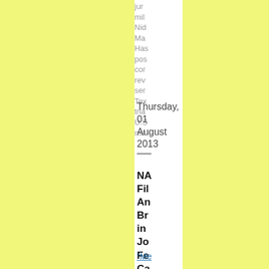jur mil Nid Ma Has pos cor rev ser Tex tria U.S mil
Thursday, 01 August 2013
NA Fil An Br in Jo Fe Ca
"Me